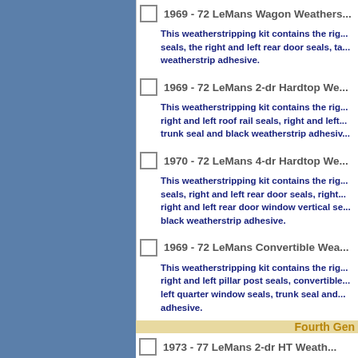1969 - 72 LeMans Wagon Weatherstripping Kit. This weatherstripping kit contains the right and left front door seals, the right and left rear door seals, tailgate seal and black weatherstrip adhesive.
1969 - 72 LeMans 2-dr Hardtop Weatherstripping Kit. This weatherstripping kit contains the right and left front door seals, right and left roof rail seals, right and left rear quarter window seals, trunk seal and black weatherstrip adhesive.
1970 - 72 LeMans 4-dr Hardtop Weatherstripping Kit. This weatherstripping kit contains the right and left front door seals, right and left rear door seals, right and left front door window vertical seals, right and left rear door window vertical seals and black weatherstrip adhesive.
1969 - 72 LeMans Convertible Weatherstripping Kit. This weatherstripping kit contains the right and left front door seals, right and left pillar post seals, convertible top seal, right and left quarter window seals, trunk seal and black weatherstrip adhesive.
Fourth Gen
1973 - 77 LeMans 2-dr HT Weatherstripping Kit.